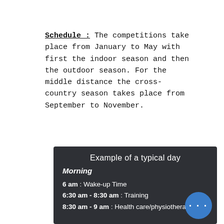Schedule : The competitions take place from January to May with first the indoor season and then the outdoor season. For the middle distance the cross-country season takes place from September to November.
Example of a typical day
Morning
6 am : Wake-up Time
6:30 am - 8:30 am : Training
8:30 am - 9 am : Health care/physiotherapist